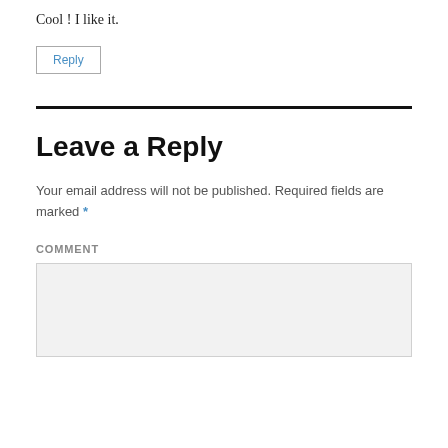Cool ! I like it.
Reply
Leave a Reply
Your email address will not be published. Required fields are marked *
COMMENT